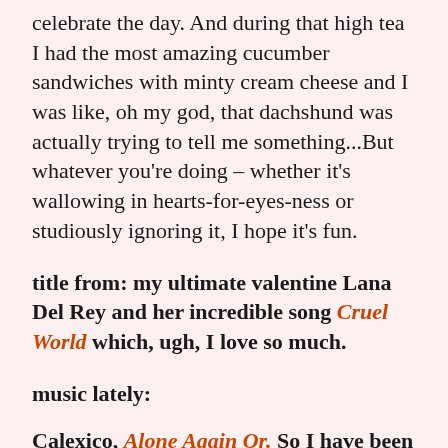celebrate the day. And during that high tea I had the most amazing cucumber sandwiches with minty cream cheese and I was like, oh my god, that dachshund was actually trying to tell me something...But whatever you're doing – whether it's wallowing in hearts-for-eyes-ness or studiously ignoring it, I hope it's fun.
title from: my ultimate valentine Lana Del Rey and her incredible song Cruel World which, ugh, I love so much.
music lately:
Calexico, Alone Again Or. So I have been loving the original version of this song, by the band Love, for a long-ass time now, but this cover was recently brought to my attention and it's so bouncy and ebullient and good and honestly,